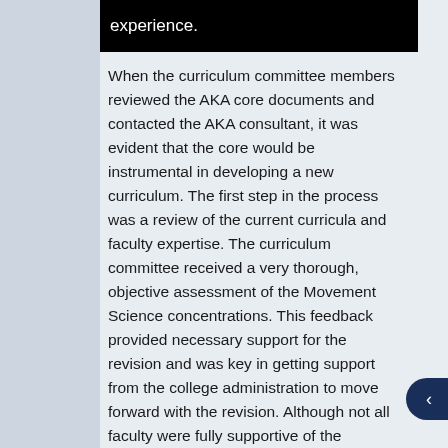experience.
When the curriculum committee members reviewed the AKA core documents and contacted the AKA consultant, it was evident that the core would be instrumental in developing a new curriculum. The first step in the process was a review of the current curricula and faculty expertise. The curriculum committee received a very thorough, objective assessment of the Movement Science concentrations. This feedback provided necessary support for the revision and was key in getting support from the college administration to move forward with the revision. Although not all faculty were fully supportive of the revision, they were receptive to the process of getting external guidance from a credentialed consultant.
One of the most appealing and beneficial